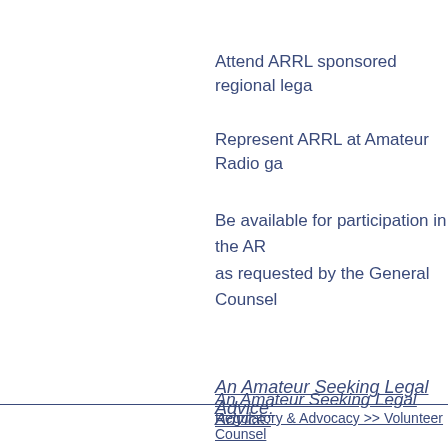Attend ARRL sponsored regional lega
Represent ARRL at Amateur Radio ga
Be available for participation in the AR as requested by the General Counsel
An Amateur Seeking Legal Advice:
Must be an ARRL member at the time
Understand that free legal advice is n
Understand that ARRL holds no liabili
Regulatory & Advocacy >> Volunteer Counsel